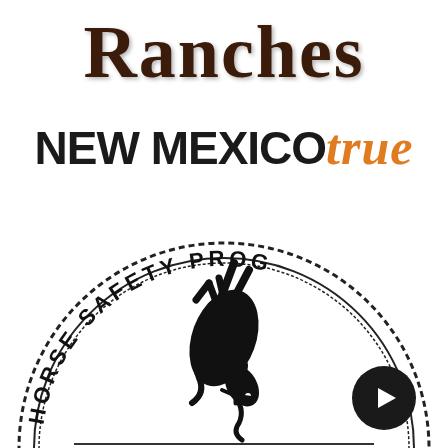Ranches
[Figure (logo): NEW MEXICO True logo — 'NEW MEXICO' in bold black sans-serif and 'true' in orange italic script]
[Figure (logo): Horse Safety Program circular seal — black and white emblem showing a rearing horse with text 'HORSE SAFETY PROG...' arranged in a circle, with a small play button icon overlay]